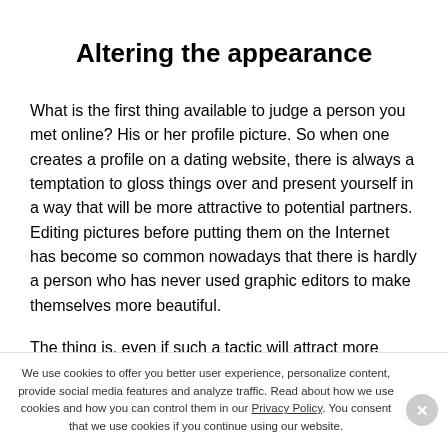Altering the appearance
What is the first thing available to judge a person you met online? His or her profile picture. So when one creates a profile on a dating website, there is always a temptation to gloss things over and present yourself in a way that will be more attractive to potential partners. Editing pictures before putting them on the Internet has become so common nowadays that there is hardly a person who has never used graphic editors to make themselves more beautiful.
The thing is, even if such a tactic will attract more
We use cookies to offer you better user experience, personalize content, provide social media features and analyze traffic. Read about how we use cookies and how you can control them in our Privacy Policy. You consent that we use cookies if you continue using our website.